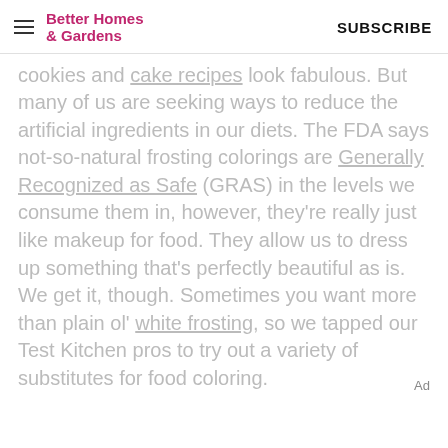Better Homes & Gardens | SUBSCRIBE
cookies and cake recipes look fabulous. But many of us are seeking ways to reduce the artificial ingredients in our diets. The FDA says not-so-natural frosting colorings are Generally Recognized as Safe (GRAS) in the levels we consume them in, however, they're really just like makeup for food. They allow us to dress up something that's perfectly beautiful as is. We get it, though. Sometimes you want more than plain ol' white frosting, so we tapped our Test Kitchen pros to try out a variety of substitutes for food coloring.
Ad